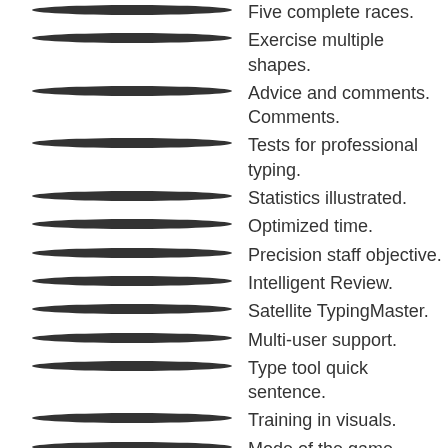Five complete races.
Exercise multiple shapes.
Advice and comments. Comments.
Tests for professional typing.
Statistics illustrated.
Optimized time.
Precision staff objective.
Intelligent Review.
Satellite TypingMaster.
Multi-user support.
Type tool quick sentence.
Training in visuals.
Mode of the game.
Mode student/teacher.